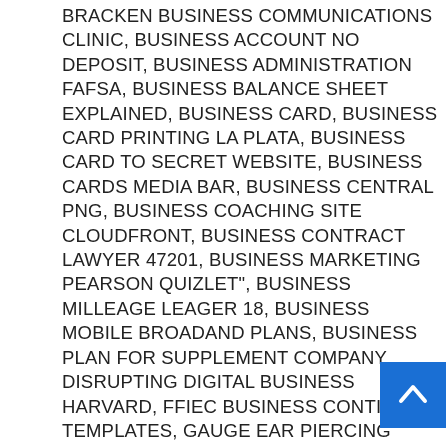BRACKEN BUSINESS COMMUNICATIONS CLINIC, BUSINESS ACCOUNT NO DEPOSIT, BUSINESS ADMINISTRATION FAFSA, BUSINESS BALANCE SHEET EXPLAINED, BUSINESS CARD, BUSINESS CARD PRINTING LA PLATA, BUSINESS CARD TO SECRET WEBSITE, BUSINESS CARDS MEDIA BAR, BUSINESS CENTRAL PNG, BUSINESS COACHING SITE CLOUDFRONT, BUSINESS CONTRACT LAWYER 47201, BUSINESS MARKETING PEARSON QUIZLET", BUSINESS MILLEAGE LEAGER 18, BUSINESS MOBILE BROADAND PLANS, BUSINESS PLAN FOR SUPPLEMENT COMPANY, DISRUPTING DIGITAL BUSINESS HARVARD, FFIEC BUSINESS CONTINUITY TEMPLATES, GAUGE EAR PIERCING BUSINESS, GOOD OPENINGS FOR BUSINESS LETTERS, HOLTON INVESTMENT BUSINESS, INDIANA WESLEYAN UNIVERSITY BUSINESS, INDIANAPOLIS BUSINESS TIMES, LIST BUSINESS IN SEARCH ENGINES, LIST MY BUSINESS YAHOO, LUNCH SUSBCRIPTION BUSINESS MODEL, MORGAN HILL BUSINESS LIOCENSE RENEWAL, NEE SMALL BUSINESS BILL SIGNED, NEGOTIATING BUSINESS ACQUISITIONS PRACTICAL LAW, NETWORKING TRENDS SMALL BUSINESS, NEW BUSINESS IN SHOREWOOD IL, SCHOOL BUSINESS OFFICER BEING UNETHI... SMALL BUSINESS ADMINISTRATION MASS, SMALL BUSINESS COMUNITY, SMALL BUSINESS CORPORATION SOUTH AFRICA, SMALL BUSINESS REFERRALS, SMALL BUSINESS MEDICAL OFFICES...